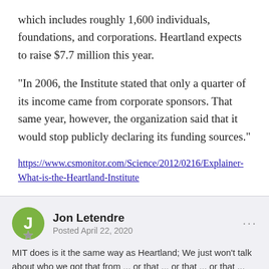which includes roughly 1,600 individuals, foundations, and corporations. Heartland expects to raise $7.7 million this year.
"In 2006, the Institute stated that only a quarter of its income came from corporate sponsors. That same year, however, the organization said that it would stop publicly declaring its funding sources."
https://www.csmonitor.com/Science/2012/0216/Explainer-What-is-the-Heartland-Institute
Jon Letendre
Posted April 22, 2020
MIT does is it the same way as Heartland; We just won't talk about who we got that from ... or that ... or that ... or that ...